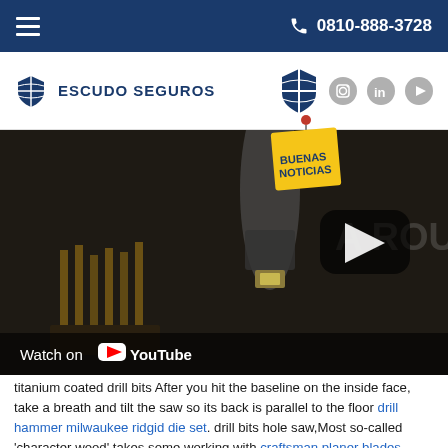0810-888-3728
[Figure (logo): Escudo Seguros logo with shield icon and company name]
[Figure (screenshot): YouTube video thumbnail showing power tools (drill bits, router bits) in dark setting with 'A ROUTE' text visible and play button, with Watch on YouTube bar at bottom]
titanium coated drill bits After you hit the baseline on the inside face, take a breath and tilt the saw so its back is parallel to the floor drill hammer milwaukee ridgid die set. drill bits hole saw,Most so-called 'character wood' takes some working with craftsman planer blades.